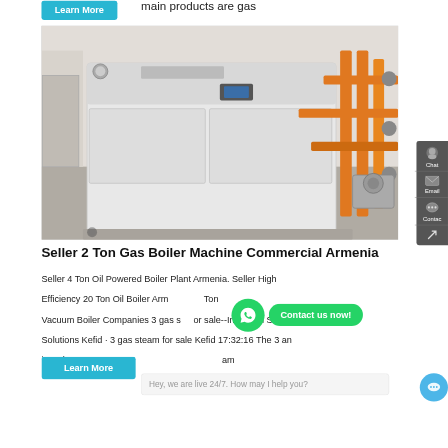main products are gas
[Figure (photo): Industrial gas boiler machine installed in a room, white cabinet unit with orange/yellow pipes on the right side]
Seller 2 Ton Gas Boiler Machine Commercial Armenia
Seller 4 Ton Oil Powered Boiler Plant Armenia. Seller High Efficiency 20 Ton Oil Boiler Armenia Ton Vacuum Boiler Companies 3 gas steam for sale--Industrial Steam Solutions Kefid · 3 gas steam for sale Kefid 17:32:16 The 3 and is a clean energy am
[Figure (other): WhatsApp contact button with green background and phone icon]
[Figure (other): Contact us now green speech bubble button]
[Figure (other): Live chat bar: Hey, we are live 24/7. How may I help you?]
Learn More